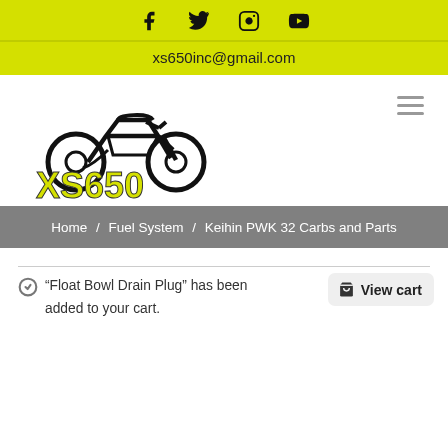Social icons: Facebook, Twitter, Instagram, YouTube
xs650inc@gmail.com
[Figure (logo): XS650 motorcycle logo with yellow XS650 text and motorcycle line drawing]
Home / Fuel System / Keihin PWK 32 Carbs and Parts
"Float Bowl Drain Plug" has been added to your cart.